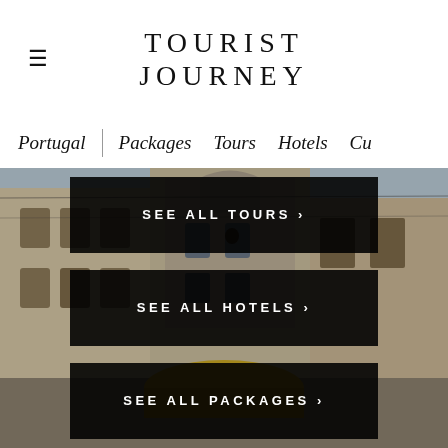TOURIST JOURNEY
Portugal | Packages   Tours   Hotels   Cu
[Figure (photo): Street-level photo of Lisbon with a historic cathedral tower, ornate building facades, overhead tram wires, and a yellow tram visible in the lower portion. The scene captures a classic Lisbon street.]
SEE ALL TOURS ›
SEE ALL HOTELS ›
SEE ALL PACKAGES ›